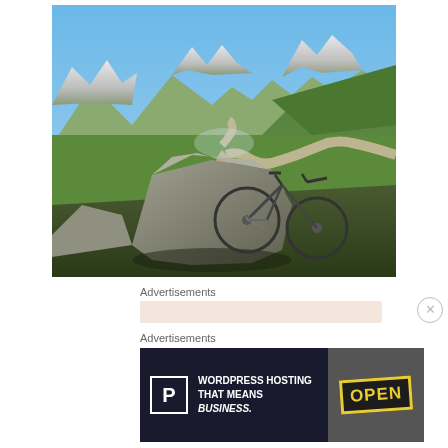[Figure (photo): Mountain landscape with a mountain bike leaning against large rocks. A winding gravel path leads through green alpine meadows toward snow-capped mountain peaks under a clear blue sky.]
Advertisements
Advertisements
[Figure (screenshot): WordPress Hosting advertisement banner with dark background. Shows 'P' logo box on left, text 'WORDPRESS HOSTING THAT MEANS BUSINESS.' in white bold font, and an 'OPEN' sign image on the right.]